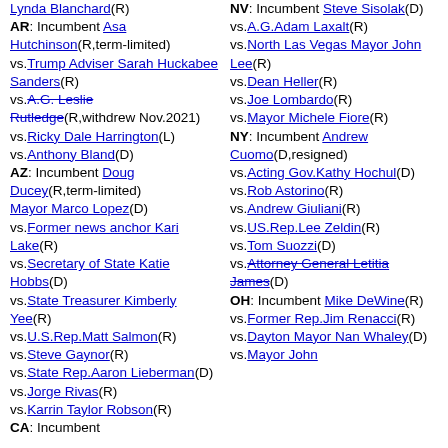Lynda Blanchard(R) AR: Incumbent Asa Hutchinson(R,term-limited) vs.Trump Adviser Sarah Huckabee Sanders(R) vs.A.G. Leslie Rutledge(R,withdrew Nov.2021) vs.Ricky Dale Harrington(L) vs.Anthony Bland(D) AZ: Incumbent Doug Ducey(R,term-limited) Mayor Marco Lopez(D) vs.Former news anchor Kari Lake(R) vs.Secretary of State Katie Hobbs(D) vs.State Treasurer Kimberly Yee(R) vs.U.S.Rep.Matt Salmon(R) vs.Steve Gaynor(R) vs.State Rep.Aaron Lieberman(D) vs.Jorge Rivas(R) vs.Karrin Taylor Robson(R) CA: Incumbent
NV: Incumbent Steve Sisolak(D) vs.A.G.Adam Laxalt(R) vs.North Las Vegas Mayor John Lee(R) vs.Dean Heller(R) vs.Joe Lombardo(R) vs.Mayor Michele Fiore(R) NY: Incumbent Andrew Cuomo(D,resigned) vs.Acting Gov.Kathy Hochul(D) vs.Rob Astorino(R) vs.Andrew Giuliani(R) vs.US.Rep.Lee Zeldin(R) vs.Tom Suozzi(D) vs.Attorney General Letitia James(D) OH: Incumbent Mike DeWine(R) vs.Former Rep.Jim Renacci(R) vs.Dayton Mayor Nan Whaley(D) vs.Mayor John